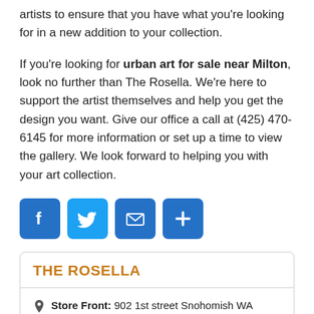artists to ensure that you have what you’re looking for in a new addition to your collection.
If you’re looking for urban art for sale near Milton, look no further than The Rosella. We’re here to support the artist themselves and help you get the design you want. Give our office a call at (425) 470-6145 for more information or set up a time to view the gallery. We look forward to helping you with your art collection.
[Figure (other): Social sharing icons: Facebook, Twitter, Email, Share/Plus buttons in blue]
THE ROSELLA
Store Front: 902 1st street Snohomish WA 98290
Email: babyg@thedogtowncollection.com